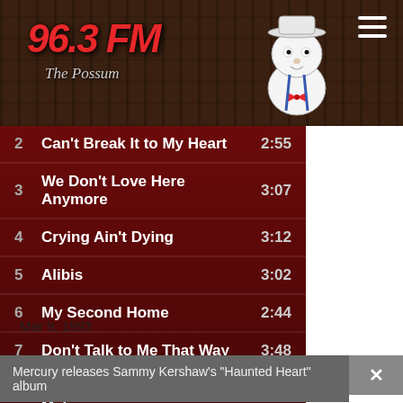[Figure (logo): 96.3 FM The Possum radio station logo with possum mascot on dark wood background]
| # | Title | Time |
| --- | --- | --- |
| 2 | Can't Break It to My Heart | 2:55 |
| 3 | We Don't Love Here Anymore | 3:07 |
| 4 | Crying Ain't Dying | 3:12 |
| 5 | Alibis | 3:02 |
| 6 | My Second Home | 2:44 |
| 7 | Don't Talk to Me That Way | 3:48 |
| 8 | It Only Takes One Bar (To Mak... | 3:31 |
| 9 | Back to Back | 3:13 |
| 10 | If the Good Die Young | 2:26 |
Mar 9, 1993
Mercury releases Sammy Kershaw's "Haunted Heart" album